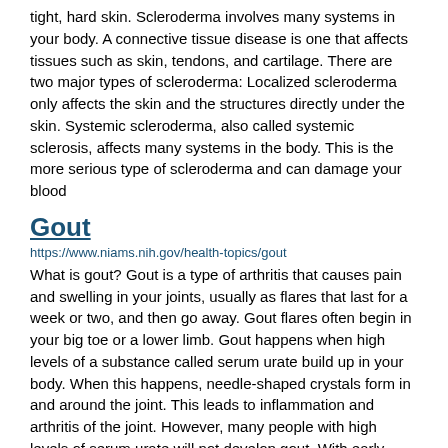tight, hard skin. Scleroderma involves many systems in your body. A connective tissue disease is one that affects tissues such as skin, tendons, and cartilage. There are two major types of scleroderma: Localized scleroderma only affects the skin and the structures directly under the skin. Systemic scleroderma, also called systemic sclerosis, affects many systems in the body. This is the more serious type of scleroderma and can damage your blood
Gout
https://www.niams.nih.gov/health-topics/gout
What is gout? Gout is a type of arthritis that causes pain and swelling in your joints, usually as flares that last for a week or two, and then go away. Gout flares often begin in your big toe or a lower limb. Gout happens when high levels of a substance called serum urate build up in your body. When this happens, needle-shaped crystals form in and around the joint. This leads to inflammation and arthritis of the joint. However, many people with high levels of serum urate will not develop gout. With early diagnosis, treatment, and lifestyle changes, gout
Pachyonychia Congenita
https://www.niams.nih.gov/health-topics/pachyonychia-congenita